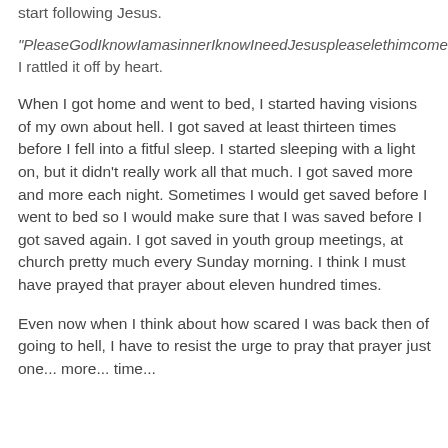start following Jesus.
“PleaseGodIknowIamasinnerIknowIneedJesuspleaselethimcomeintomyhearttonightinJesusnameamen.”  I rattled it off by heart.
When I got home and went to bed, I started having visions of my own about hell.  I got saved at least thirteen times before I fell into a fitful sleep.  I started sleeping with a light on, but it didn't really work all that much.  I got saved more and more each night.  Sometimes I would get saved before I went to bed so I would make sure that I was saved before I got saved again.  I got saved in youth group meetings, at church pretty much every Sunday morning.   I think I must have prayed that prayer about eleven hundred times.
Even now when I think about how scared I was back then of going to hell, I have to resist the urge to pray that prayer just one... more... time...